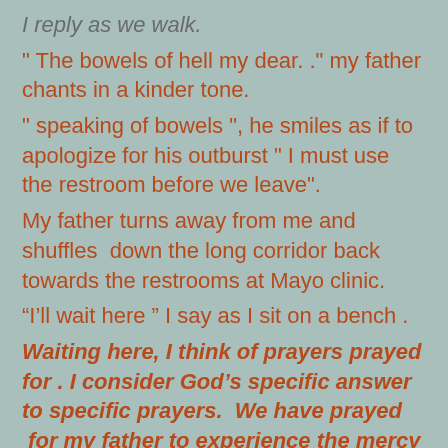I reply as we walk.
" The bowels of hell my dear. ." my father chants in a kinder tone.
" speaking of bowels ", he smiles as if to apologize for his outburst " I must use the restroom before we leave".
My father turns away from me and shuffles  down the long corridor back towards the restrooms at Mayo clinic.
“I'll wait here " I say as I sit on a bench .
Waiting here, I think of prayers prayed for . I consider God’s specific answer to specific prayers.  We have prayed  for my father to experience the mercy and love of God